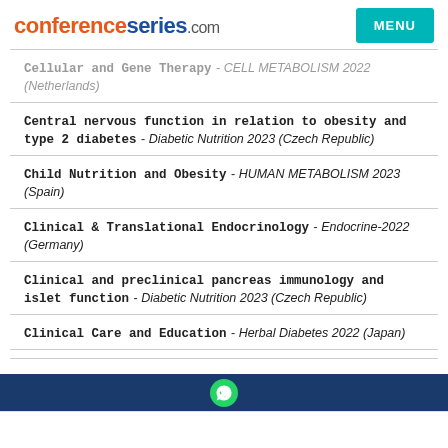conferenceseries.com
Cellular and Gene Therapy - CELL METABOLISM 2022 (Netherlands)
Central nervous function in relation to obesity and type 2 diabetes - Diabetic Nutrition 2023 (Czech Republic)
Child Nutrition and Obesity - HUMAN METABOLISM 2023 (Spain)
Clinical & Translational Endocrinology - Endocrine-2022 (Germany)
Clinical and preclinical pancreas immunology and islet function - Diabetic Nutrition 2023 (Czech Republic)
Clinical Care and Education - Herbal Diabetes 2022 (Japan)